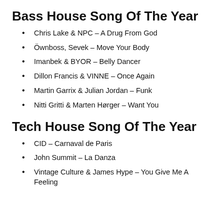Bass House Song Of The Year
Chris Lake & NPC – A Drug From God
Öwnboss, Sevek – Move Your Body
Imanbek & BYOR – Belly Dancer
Dillon Francis & VINNE – Once Again
Martin Garrix & Julian Jordan – Funk
Nitti Gritti & Marten Hørger – Want You
Tech House Song Of The Year
CID – Carnaval de Paris
John Summit – La Danza
Vintage Culture & James Hype – You Give Me A Feeling